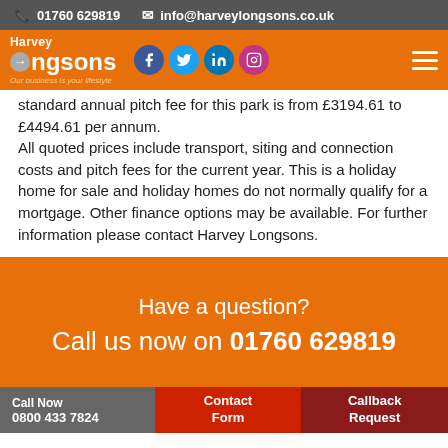📞 01760 629819   ✉ info@harveylongsons.co.uk
[Figure (logo): Harvey Longsons logo with orange background, social media icons (Facebook, Twitter, LinkedIn, Instagram), and hamburger menu]
standard annual pitch fee for this park is from £3194.61 to £4494.61 per annum. All quoted prices include transport, siting and connection costs and pitch fees for the current year. This is a holiday home for sale and holiday homes do not normally qualify for a mortgage. Other finance options may be available. For further information please contact Harvey Longsons.
Have a question?
Call us now on 01760 629819
Call Now 0800 433 7824 | Contact Form | Callback Request